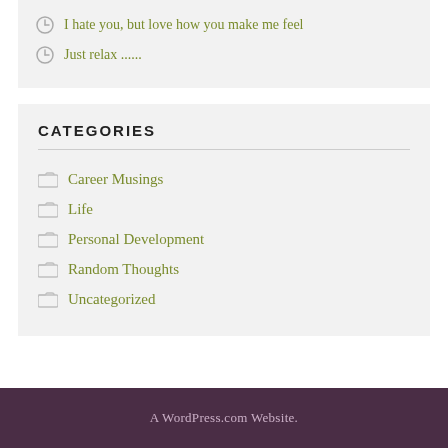I hate you, but love how you make me feel
Just relax ......
CATEGORIES
Career Musings
Life
Personal Development
Random Thoughts
Uncategorized
A WordPress.com Website.